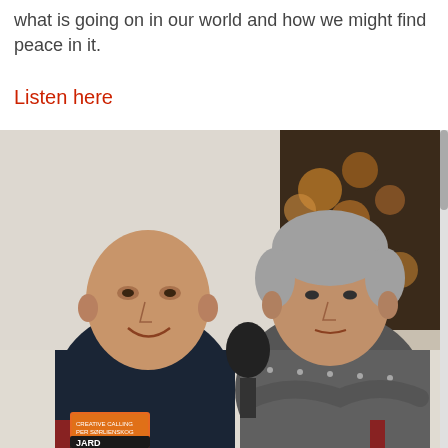what is going on in our world and how we might find peace in it.
Listen here
[Figure (photo): Two men sitting side by side in front of a dark artwork on the wall. The man on the left has a shaved head and is wearing a dark navy shirt. The man on the right has grey hair and is wearing a patterned black and white shirt with arms crossed. Between them is a black microphone. In the front left is an orange book. The setting appears to be a podcast or interview studio.]